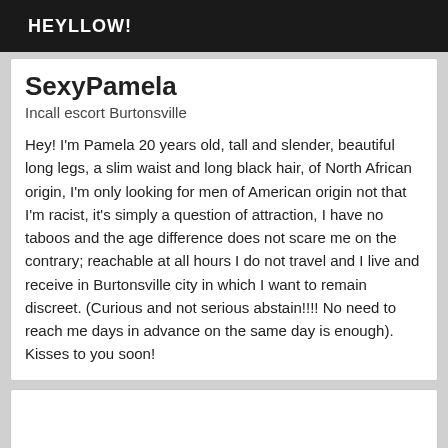HEYLLOW!
SexyPamela
Incall escort Burtonsville
Hey! I'm Pamela 20 years old, tall and slender, beautiful long legs, a slim waist and long black hair, of North African origin, I'm only looking for men of American origin not that I'm racist, it's simply a question of attraction, I have no taboos and the age difference does not scare me on the contrary; reachable at all hours I do not travel and I live and receive in Burtonsville city in which I want to remain discreet. (Curious and not serious abstain!!!! No need to reach me days in advance on the same day is enough). Kisses to you soon!